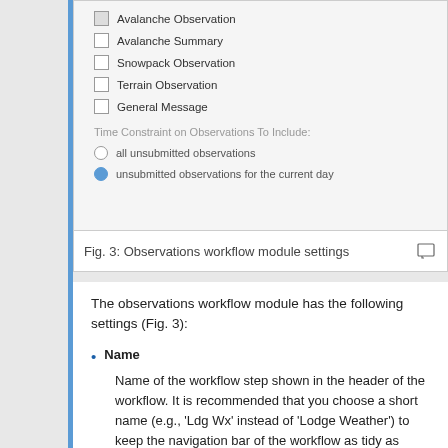[Figure (screenshot): Screenshot of an observations workflow module settings panel showing checkboxes for Avalanche Observation, Avalanche Summary, Snowpack Observation, Terrain Observation, General Message, and radio buttons for time constraint options: 'all unsubmitted observations' and 'unsubmitted observations for the current day'.]
Fig. 3: Observations workflow module settings
The observations workflow module has the following settings (Fig. 3):
Name
Name of the workflow step shown in the header of the workflow. It is recommended that you choose a short name (e.g., 'Ldg Wx' instead of 'Lodge Weather') to keep the navigation bar of the workflow as tidy as possible.